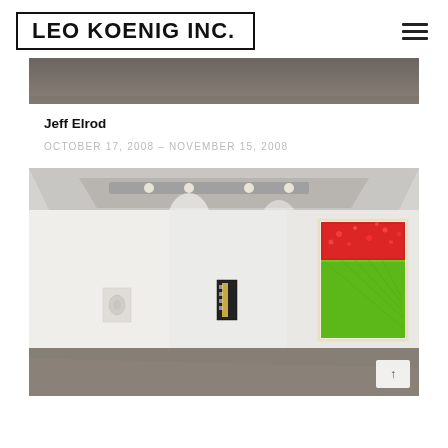LEO KOENIG INC.
[Figure (photo): Top portion of a gallery interior image, showing a dark grey ceiling/wall area]
Jeff Elrod
OCTOBER 17, 2008 – NOVEMBER 15, 2008
[Figure (photo): Gallery interior showing white walls with three artworks hung: a small abstract piece on left wall, a black and gold piece in the center, and a large vibrant green and red painting on the right wall. Track lighting on ceiling, concrete floor visible.]